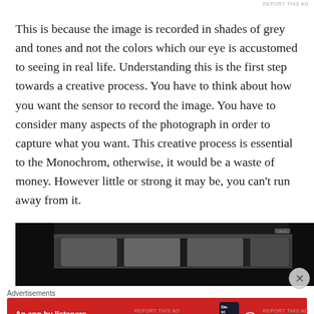This is because the image is recorded in shades of grey and tones and not the colors which our eye is accustomed to seeing in real life. Understanding this is the first step towards a creative process. You have to think about how you want the sensor to record the image. You have to consider many aspects of the photograph in order to capture what you want. This creative process is essential to the Monochrom, otherwise, it would be a waste of money. However little or strong it may be, you can't run away from it.
[Figure (photo): Black and white photograph showing what appears to be leather seats or cushioned surfaces, taken from a low angle in a dark setting.]